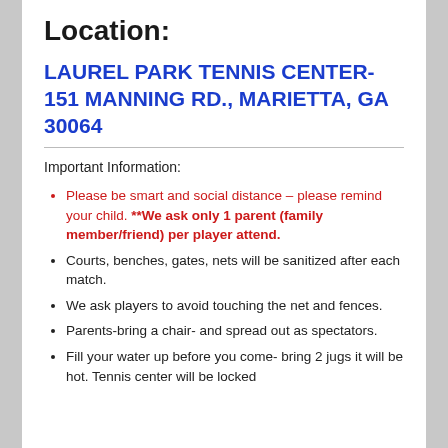Location:
LAUREL PARK TENNIS CENTER-151 MANNING RD., MARIETTA, GA 30064
Important Information:
Please be smart and social distance – please remind your child. **We ask only 1 parent (family member/friend) per player attend.
Courts, benches, gates, nets will be sanitized after each match.
We ask players to avoid touching the net and fences.
Parents-bring a chair- and spread out as spectators.
Fill your water up before you come- bring 2 jugs it will be hot. Tennis center will be locked